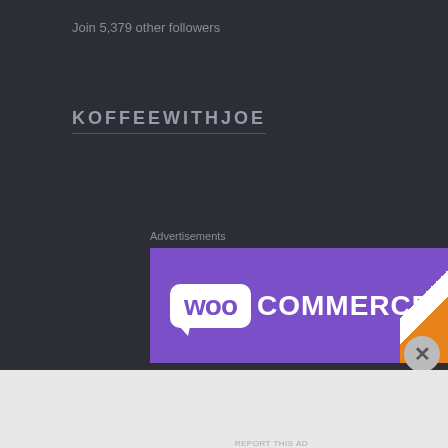Join 5,379 other followers
KOFFEEWITHJOE
Advertisements
[Figure (logo): WooCommerce purple banner advertisement with white WooCommerce logo on purple background with diagonal white and orange stripe on right side]
[Figure (logo): WordPress advertisement banner on dark navy background: 'Opinions. We all have them!' with WordPress logo circle and another circular logo on right]
Advertisements
REPORT THIS AD